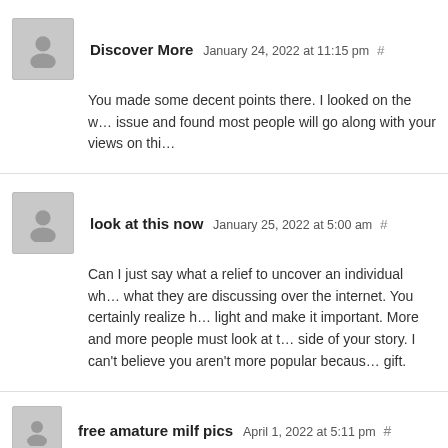Discover More  January 24, 2022 at 11:15 pm #
You made some decent points there. I looked on the w… issue and found most people will go along with your views on thi…
look at this now  January 25, 2022 at 5:00 am #
Can I just say what a relief to uncover an individual wh… what they are discussing over the internet. You certainly realize h… light and make it important. More and more people must look at t… side of your story. I can't believe you aren't more popular becaus… gift.
free amature milf pics  April 1, 2022 at 5:11 pm #